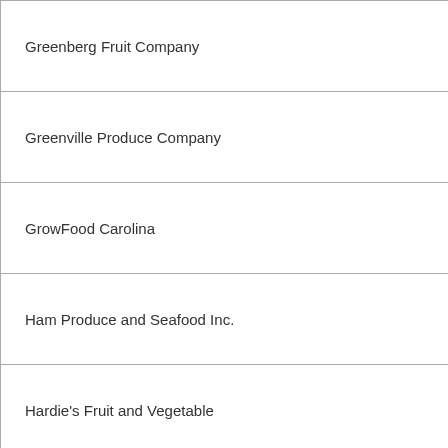| Greenberg Fruit Company |
| Greenville Produce Company |
| GrowFood Carolina |
| Ham Produce and Seafood Inc. |
| Hardie's Fruit and Vegetable |
| Heartland Produce Co |
| Heeren, LLC |
|  |